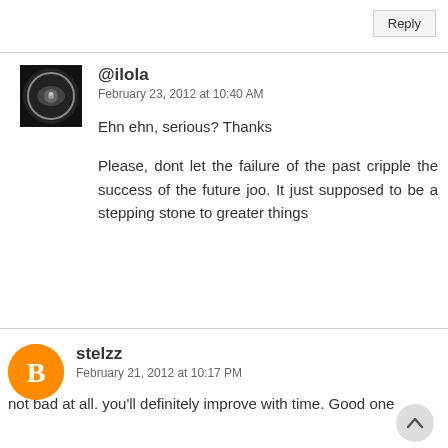Reply
[Figure (photo): Avatar image for @ilola, black circle with white graphic]
@ilola
February 23, 2012 at 10:40 AM
Ehn ehn, serious? Thanks
Please, dont let the failure of the past cripple the success of the future joo. It just supposed to be a stepping stone to greater things
[Figure (logo): Blogger B logo, orange circle with white B]
stelzz
February 21, 2012 at 10:17 PM
not bad at all. you'll definitely improve with time. Good one